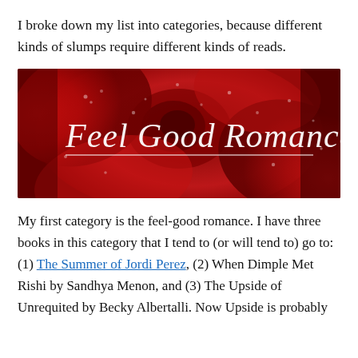I broke down my list into categories, because different kinds of slumps require different kinds of reads.
[Figure (photo): A close-up photo of a red rose with water droplets, overlaid with white cursive script text reading 'Feel Good Romance']
My first category is the feel-good romance. I have three books in this category that I tend to (or will tend to) go to: (1) The Summer of Jordi Perez, (2) When Dimple Met Rishi by Sandhya Menon, and (3) The Upside of Unrequited by Becky Albertalli. Now Upside is probably